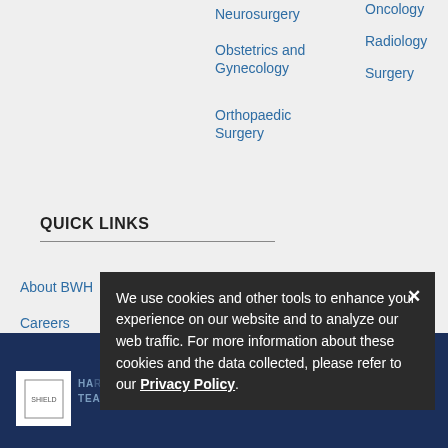Neurosurgery
Obstetrics and Gynecology
Orthopaedic Surgery
Oncology
Radiology
Surgery
QUICK LINKS
About BWH
Careers
Education & Training
Giving
Health Information
News
International Collaborations
Services A-Z
We use cookies and other tools to enhance your experience on our website and to analyze our web traffic. For more information about these cookies and the data collected, please refer to our Privacy Policy.
HARVARD MEDICAL SCHOOL TEACHING HOSPITAL